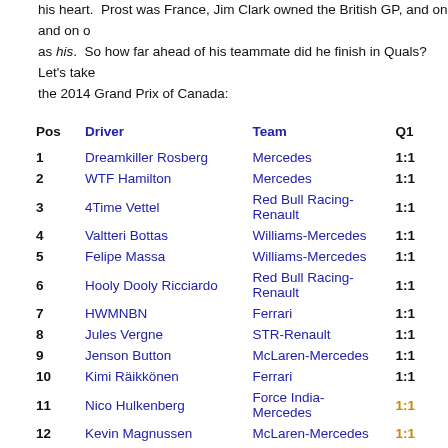his heart. Prost was France, Jim Clark owned the British GP, and on and on, each driver had his as his. So how far ahead of his teammate did he finish in Quals? Let's take a look at the 2014 Grand Prix of Canada:
| Pos | Driver | Team | Q1 |
| --- | --- | --- | --- |
| 1 | Dreamkiller Rosberg | Mercedes | 1:1 |
| 2 | WTF Hamilton | Mercedes | 1:1 |
| 3 | 4Time Vettel | Red Bull Racing-Renault | 1:1 |
| 4 | Valtteri Bottas | Williams-Mercedes | 1:1 |
| 5 | Felipe Massa | Williams-Mercedes | 1:1 |
| 6 | Hooly Dooly Ricciardo | Red Bull Racing-Renault | 1:1 |
| 7 | HWMNBN | Ferrari | 1:1 |
| 8 | Jules Vergne | STR-Renault | 1:1 |
| 9 | Jenson Button | McLaren-Mercedes | 1:1 |
| 10 | Kimi Räikkönen | Ferrari | 1:1 |
| 11 | Nico Hulkenberg | Force India-Mercedes | 1:1 |
| 12 | Kevin Magnussen | McLaren-Mercedes | 1:1 |
| 13 | Sergio Perez | Force India-Mercedes | 1:1 |
| 14 | Lettuce Grosjean | Lotus-Renault | 1:1 |
| 15 | Kid Kvyat | STR-Renault | 1:1 |
| 16 | Adrian E'n Sutil | Sauber-Ferrari | 1:1 |